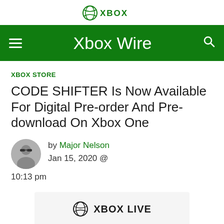XBOX
Xbox Wire
XBOX STORE
CODE SHIFTER Is Now Available For Digital Pre-order And Pre-download On Xbox One
by Major Nelson
Jan 15, 2020 @ 10:13pm
[Figure (logo): Xbox Live logo with Xbox sphere icon and text XBOX LIVE]